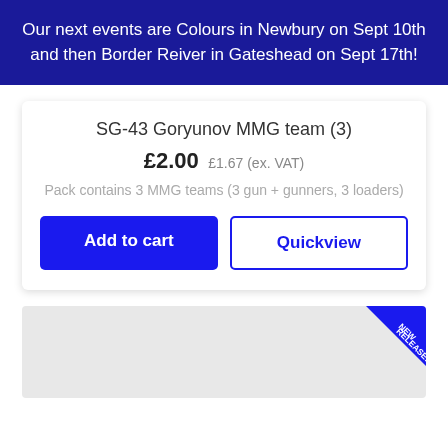Our next events are Colours in Newbury on Sept 10th and then Border Reiver in Gateshead on Sept 17th!
SG-43 Goryunov MMG team (3)
£2.00 £1.67 (ex. VAT)
Pack contains 3 MMG teams (3 gun + gunners, 3 loaders)
Add to cart
Quickview
[Figure (other): Partial product image with a NEW RELEASE! diagonal badge in the bottom right corner]